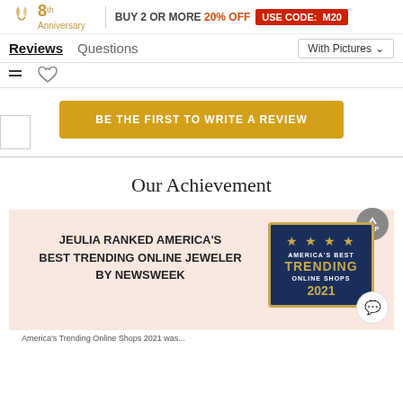8th Anniversary | BUY 2 OR MORE 20% OFF USE CODE: M20
Reviews  Questions  With Pictures
BE THE FIRST TO WRITE A REVIEW
Our Achievement
JEULIA RANKED AMERICA'S BEST TRENDING ONLINE JEWELER BY NEWSWEEK
[Figure (illustration): America's Best Trending Online Shops 2021 badge — dark blue badge with gold stars and gold border, text: AMERICA'S BEST TRENDING ONLINE SHOPS 2021]
America's Trending Online Shops 2021 was...